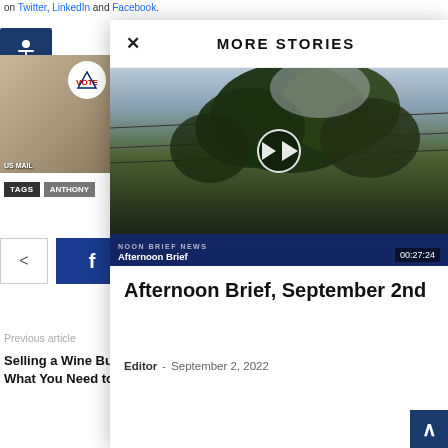on Twitter, LinkedIn and Facebook.
[Figure (screenshot): Accessibility wheelchair icon on dark blue background]
[Figure (photo): Left sidebar thumbnail image with vote/election badge]
TAGS  ANTHONY
[Figure (screenshot): Share button and Facebook button]
Previous article
Selling a Wine Business? Here's What You Need to Know
San Joaquin Winery Earns Gold and Silver Medal Prestigious Wine
MORE STORIES
[Figure (screenshot): Video thumbnail showing grapevine against sky with play button. Video labeled 'Afternoon Brief' with timestamp 00:27:24. Banner reads 'NOON BRIEF NEWS'.]
Afternoon Brief, September 2nd
Editor - September 2, 2022